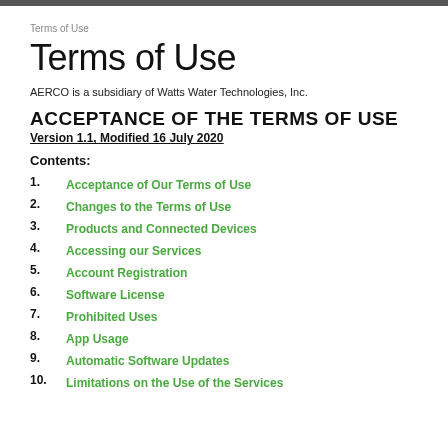Terms of Use
Terms of Use
AERCO is a subsidiary of Watts Water Technologies, Inc.
ACCEPTANCE OF THE TERMS OF USE
Version 1.1, Modified 16 July 2020
Contents:
1. Acceptance of Our Terms of Use
2. Changes to the Terms of Use
3. Products and Connected Devices
4. Accessing our Services
5. Account Registration
6. Software License
7. Prohibited Uses
8. App Usage
9. Automatic Software Updates
10. Limitations on the Use of the Services